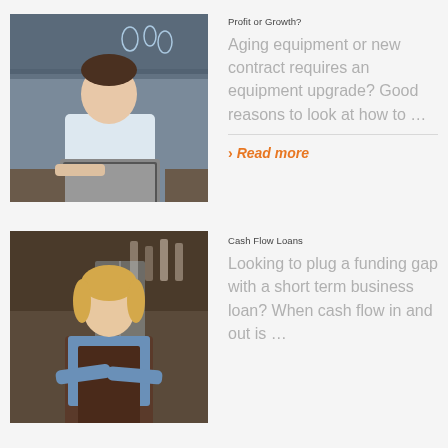[Figure (photo): Man in white shirt working on laptop at a counter, bar/café background]
Profit or Growth?
Aging equipment or new contract requires an equipment upgrade? Good reasons to look at how to …
› Read more
[Figure (photo): Young woman in apron with arms crossed, standing in front of a shop entrance]
Cash Flow Loans
Looking to plug a funding gap with a short term business loan? When cash flow in and out is …